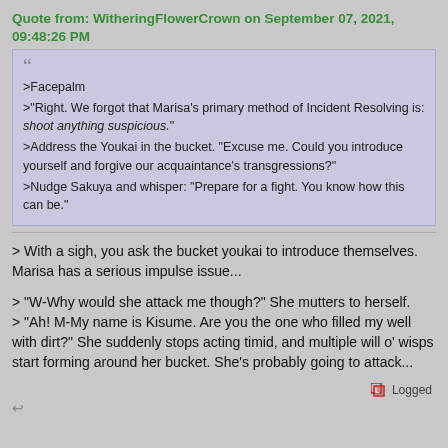Quote from: WitheringFlowerCrown on September 07, 2021, 09:48:26 PM
>Facepalm
>"Right. We forgot that Marisa's primary method of Incident Resolving is: shoot anything suspicious."
>Address the Youkai in the bucket. "Excuse me. Could you introduce yourself and forgive our acquaintance's transgressions?"
>Nudge Sakuya and whisper: "Prepare for a fight. You know how this can be."
> With a sigh, you ask the bucket youkai to introduce themselves. Marisa has a serious impulse issue...
> "W-Why would she attack me though?" She mutters to herself.
> "Ah! M-My name is Kisume. Are you the one who filled my well with dirt?" She suddenly stops acting timid, and multiple will o' wisps start forming around her bucket. She's probably going to attack...
Logged